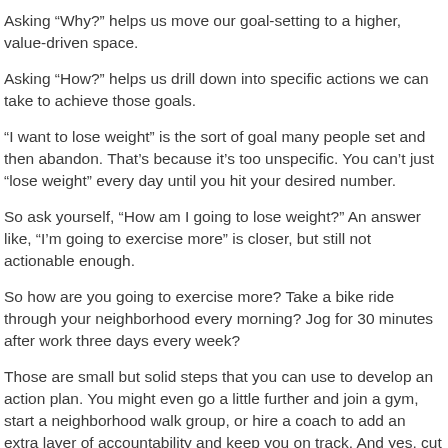Asking “Why?” helps us move our goal-setting to a higher, value-driven space.
Asking “How?” helps us drill down into specific actions we can take to achieve those goals.
“I want to lose weight” is the sort of goal many people set and then abandon. That’s because it’s too unspecific. You can’t just “lose weight” every day until you hit your desired number.
So ask yourself, “How am I going to lose weight?” An answer like, “I’m going to exercise more” is closer, but still not actionable enough.
So how are you going to exercise more? Take a bike ride through your neighborhood every morning? Jog for 30 minutes after work three days every week?
Those are small but solid steps that you can use to develop an action plan. You might even go a little further and join a gym, start a neighborhood walk group, or hire a coach to add an extra layer of accountability and keep you on track. And yes, cut out the ice cream and hot fudge!